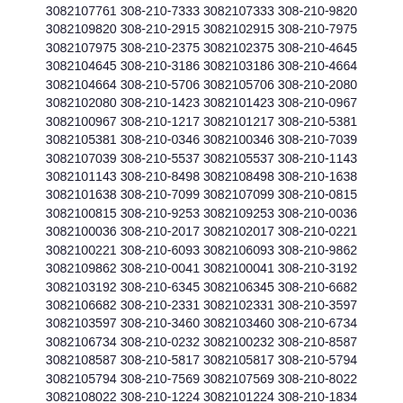3082107761 308-210-7333 3082107333 308-210-9820 3082109820 308-210-2915 3082102915 308-210-7975 3082107975 308-210-2375 3082102375 308-210-4645 3082104645 308-210-3186 3082103186 308-210-4664 3082104664 308-210-5706 3082105706 308-210-2080 3082102080 308-210-1423 3082101423 308-210-0967 3082100967 308-210-1217 3082101217 308-210-5381 3082105381 308-210-0346 3082100346 308-210-7039 3082107039 308-210-5537 3082105537 308-210-1143 3082101143 308-210-8498 3082108498 308-210-1638 3082101638 308-210-7099 3082107099 308-210-0815 3082100815 308-210-9253 3082109253 308-210-0036 3082100036 308-210-2017 3082102017 308-210-0221 3082100221 308-210-6093 3082106093 308-210-9862 3082109862 308-210-0041 3082100041 308-210-3192 3082103192 308-210-6345 3082106345 308-210-6682 3082106682 308-210-2331 3082102331 308-210-3597 3082103597 308-210-3460 3082103460 308-210-6734 3082106734 308-210-0232 3082100232 308-210-8587 3082108587 308-210-5817 3082105817 308-210-5794 3082105794 308-210-7569 3082107569 308-210-8022 3082108022 308-210-1224 3082101224 308-210-1834 3082101834 308-210-8339 3082108339 308-210-0408 3082100408 308-210-4225 3082104225 308-210-3623 3082103623 308-210-6286 3082106286 308-210-8509